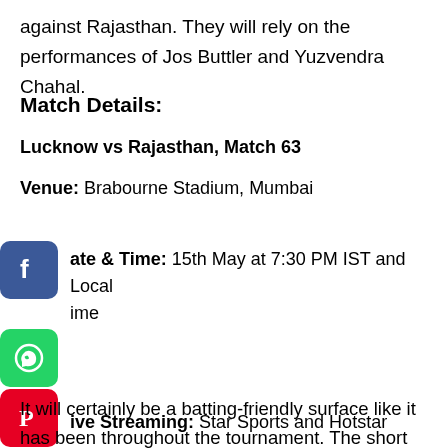against Rajasthan. They will rely on the performances of Jos Buttler and Yuzvendra Chahal.
Match Details:
Lucknow vs Rajasthan, Match 63
Venue: Brabourne Stadium, Mumbai
Date & Time: 15th May at 7:30 PM IST and Local time
Live Streaming: Star Sports and Hotstar
LUC vs RAJ, Match 63 Pitch Report:
It will certainly be a batting-friendly surface like it has been throughout the tournament. The short boundary dimension on one side will also require the bowlers to